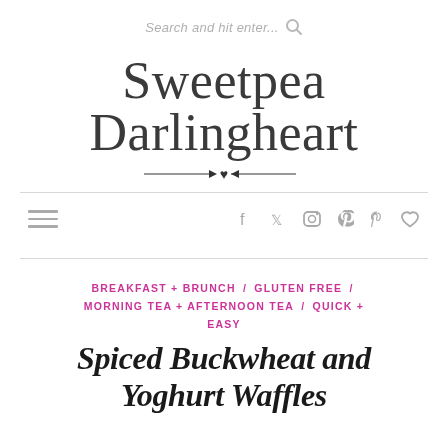Search and hit enter...
Sweetpea Darlingheart
[Figure (other): Decorative arrow with heart divider below the logo]
☰  f  🐦  📷  p  ♡
BREAKFAST + BRUNCH / GLUTEN FREE / MORNING TEA + AFTERNOON TEA / QUICK + EASY
Spiced Buckwheat and Yoghurt Waffles